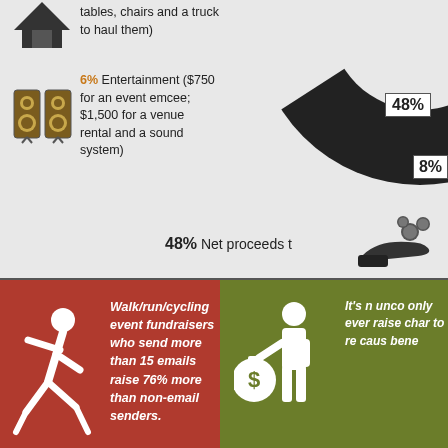tables, chairs and a truck to haul them)
6% Entertainment ($750 for an event emcee; $1,500 for a venue rental and a sound system)
[Figure (pie-chart): Partial pie chart showing 48% and 8% slices visible]
48% Net proceeds t
Walk/run/cycling event fundraisers who send more than 15 emails raise 76% more than non-email senders.
It's n unco only ever raise char to re caus bene